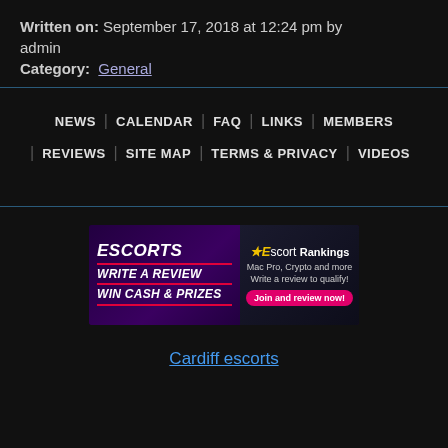Written on: September 17, 2018 at 12:24 pm by admin
Category: General
NEWS | CALENDAR | FAQ | LINKS | MEMBERS | REVIEWS | SITE MAP | TERMS & PRIVACY | VIDEOS
[Figure (illustration): Escort Rankings advertisement banner: ESCORTS WRITE A REVIEW WIN CASH & PRIZES. Escort Rankings Mac Pro, Crypto and more. Write a review to qualify! Join and review now!]
Cardiff escorts